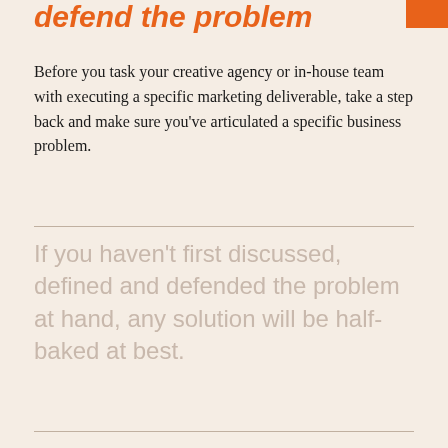defend the problem
Before you task your creative agency or in-house team with executing a specific marketing deliverable, take a step back and make sure you've articulated a specific business problem.
If you haven't first discussed, defined and defended the problem at hand, any solution will be half-baked at best.